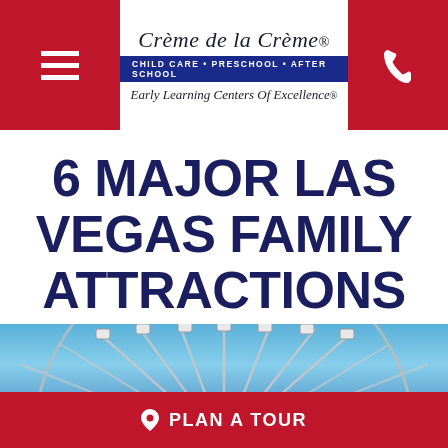Crème de la Crème. CHILD CARE · PRESCHOOL · AFTER SCHOOL Early Learning Centers Of Excellence®
6 MAJOR LAS VEGAS FAMILY ATTRACTIONS
JUNE 16, 2021
[Figure (photo): Bottom portion of a Ferris wheel (High Roller or similar) against blue sky]
PLAN A TOUR